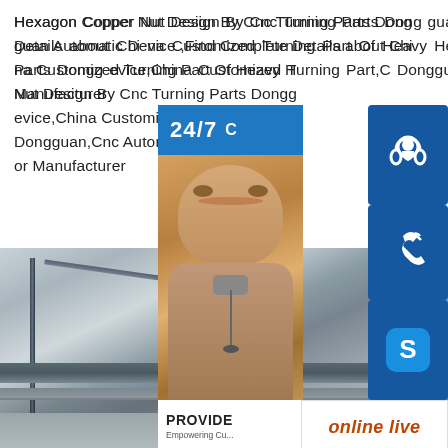Hexagon Copper Nut Design By Cnc Turning Parts Dongguan Automatic Device ,Find Complete Details about China Customized Turning Part Of Heavy Hexagon Nut Design By Cnc Turning Parts Dongguan Automatic Device,China Customized Turning Part,Cnc Automatic Parts Dongguan,Cnc Automatic Parts from Machine Nut Supplier or Manufacturer
[Figure (photo): Photo of metal plates/sheets stacked, showing industrial steel material with perspective angle, overlaid with a customer service panel showing 24/7 support icons (headset, phone, Skype), a customer service representative photo, PROVIDE text, and online live button]